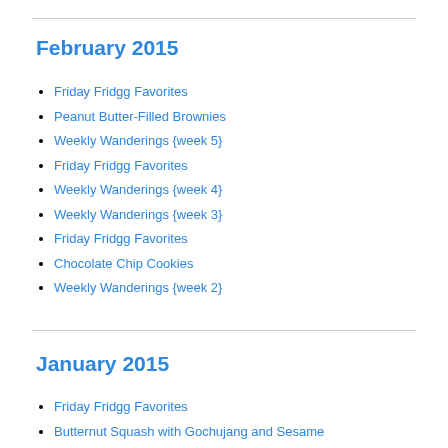February 2015
Friday Fridgg Favorites
Peanut Butter-Filled Brownies
Weekly Wanderings {week 5}
Friday Fridgg Favorites
Weekly Wanderings {week 4}
Weekly Wanderings {week 3}
Friday Fridgg Favorites
Chocolate Chip Cookies
Weekly Wanderings {week 2}
January 2015
Friday Fridgg Favorites
Butternut Squash with Gochujang and Sesame